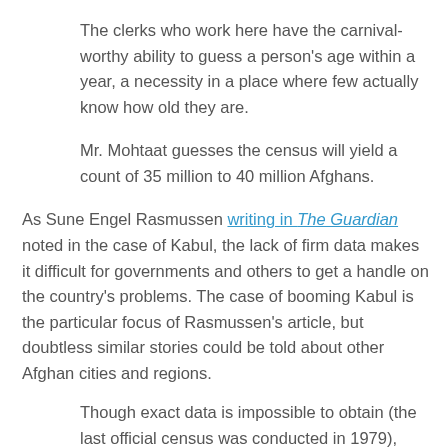The clerks who work here have the carnival-worthy ability to guess a person's age within a year, a necessity in a place where few actually know how old they are.
Mr. Mohtaat guesses the census will yield a count of 35 million to 40 million Afghans.
As Sune Engel Rasmussen writing in The Guardian noted in the case of Kabul, the lack of firm data makes it difficult for governments and others to get a handle on the country's problems. The case of booming Kabul is the particular focus of Rasmussen's article, but doubtless similar stories could be told about other Afghan cities and regions.
Though exact data is impossible to obtain (the last official census was conducted in 1979), Kabul is estimated to be the fifth fastest growing city in the world, with a population which has ballooned from approximately 1.5 million in 2001 to around 6 million people now. The rapid